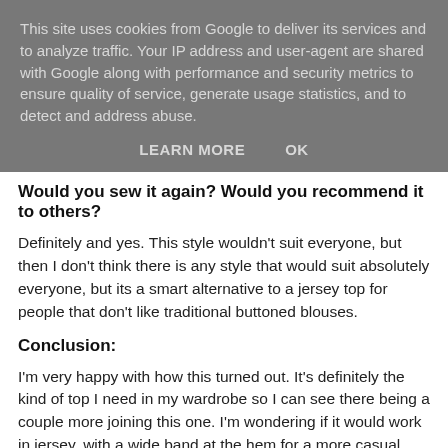This site uses cookies from Google to deliver its services and to analyze traffic. Your IP address and user-agent are shared with Google along with performance and security metrics to ensure quality of service, generate usage statistics, and to detect and address abuse.
LEARN MORE   OK
Would you sew it again? Would you recommend it to others?
Definitely and yes.  This style wouldn't suit everyone, but then I don't think there is any style that would suit absolutely everyone, but its a smart alternative to a jersey top for people that don't like traditional buttoned blouses.
Conclusion:
I'm very happy with how this turned out.  It's definitely the kind of top I need in my wardrobe so I can see there being a couple more joining this one.  I'm wondering if it would work in jersey, with a wide band at the hem for a more casual look to be worn over trousers rather than tucked in.